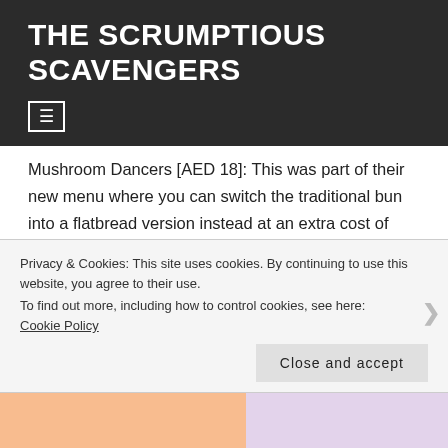THE SCRUMPTIOUS SCAVENGERS
≡
Mushroom Dancers [AED 18]: This was part of their new menu where you can switch the traditional bun into a flatbread version instead at an extra cost of AED 4. You can even opt to make the bread crispy if you like and that is what we did and turned out to be
Privacy & Cookies: This site uses cookies. By continuing to use this website, you agree to their use.
To find out more, including how to control cookies, see here:
Cookie Policy
Close and accept